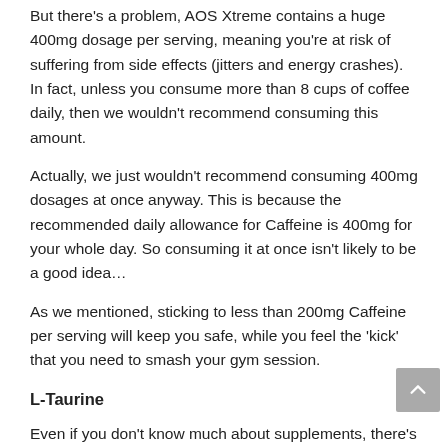But there's a problem, AOS Xtreme contains a huge 400mg dosage per serving, meaning you're at risk of suffering from side effects (jitters and energy crashes). In fact, unless you consume more than 8 cups of coffee daily, then we wouldn't recommend consuming this amount.
Actually, we just wouldn't recommend consuming 400mg dosages at once anyway. This is because the recommended daily allowance for Caffeine is 400mg for your whole day. So consuming it at once isn't likely to be a good idea…
As we mentioned, sticking to less than 200mg Caffeine per serving will keep you safe, while you feel the 'kick' that you need to smash your gym session.
L-Taurine
Even if you don't know much about supplements, there's a